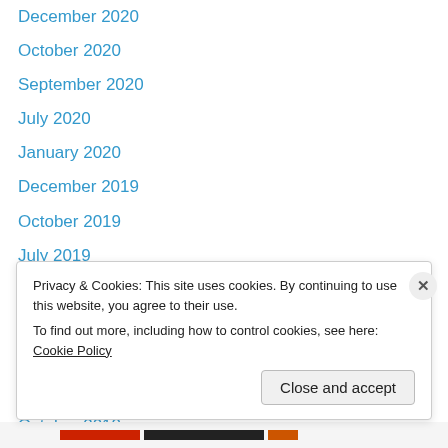December 2020
October 2020
September 2020
July 2020
January 2020
December 2019
October 2019
July 2019
May 2019
March 2019
January 2019
November 2018
October 2018
July 2018
Privacy & Cookies: This site uses cookies. By continuing to use this website, you agree to their use.
To find out more, including how to control cookies, see here: Cookie Policy
Close and accept